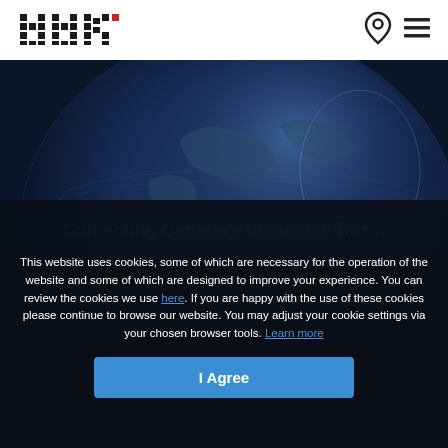[Figure (logo): HHK logo — pixel/checkerboard style letters H H K with a small red square, in black and white]
[Figure (illustration): Location pin icon (outline style) in dark color]
[Figure (illustration): Hamburger menu icon (three horizontal lines) in dark color]
[Figure (photo): Dark blue globe/world map background image]
This website uses cookies, some of which are necessary for the operation of the website and some of which are designed to improve your experience. You can review the cookies we use here. If you are happy with the use of these cookies please continue to browse our website. You may adjust your cookie settings via your chosen browser tools. Learn more
I Agree